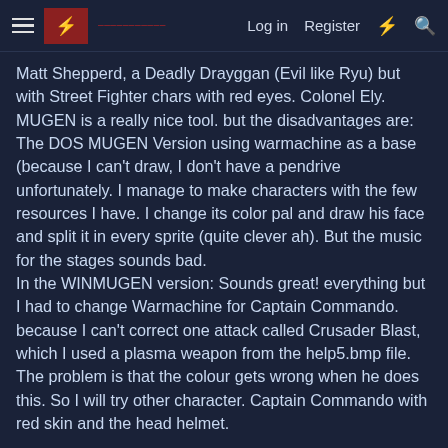Log in  Register
Matt Shepperd, a Deadly Drayggan (Evil like Ryu) but with Street Fighter chars with red eyes. Colonel Ely. MUGEN is a really nice tool. but the disadvantages are: The DOS MUGEN Version using warmachine as a base (because I can't draw, I don't have a pendrive unfortunately. I manage to make characters with the few resources I have. I change its color pal and draw his face and split it in every sprite (quite clever ah). But the music for the stages sounds bad.
In the WINMUGEN version: Sounds great! everything but I had to change Warmachine for Captain Commando. because I can't correct one attack called Crusader Blast, which I used a plasma weapon from the help5.bmp file. The problem is that the colour gets wrong when he does this. So I will try other character. Captain Commando with red skin and the head helmet.
This is a resume of the story:
Mr. Bison is back again, and he wants to kill Ryu Hoshi, his greatest enemy. So he finds Drayggan, Silencer's ( Captain Crusader: this is the new name of the character) enemy. After a